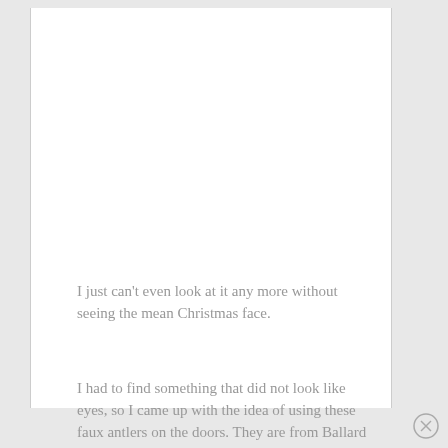I just can't even look at it any more without seeing the mean Christmas face.
I had to find something that did not look like eyes, so I came up with the idea of using these faux antlers on the doors. They are from Ballard Designs.